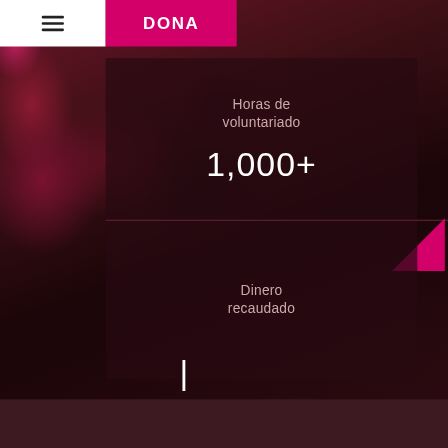DONA
Horas de voluntariado
1,000+
Dinero recaudado